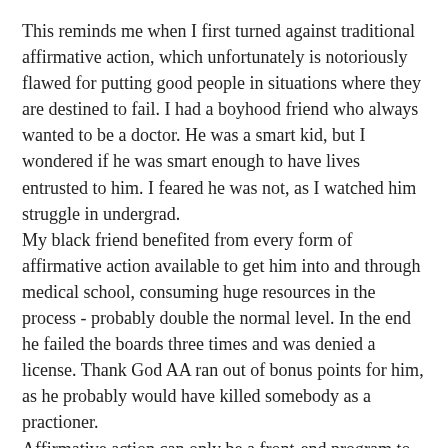This reminds me when I first turned against traditional affirmative action, which unfortunately is notoriously flawed for putting good people in situations where they are destined to fail. I had a boyhood friend who always wanted to be a doctor. He was a smart kid, but I wondered if he was smart enough to have lives entrusted to him. I feared he was not, as I watched him struggle in undergrad.
My black friend benefited from every form of affirmative action available to get him into and through medical school, consuming huge resources in the process - probably double the normal level. In the end he failed the boards three times and was denied a license. Thank God AA ran out of bonus points for him, as he probably would have killed somebody as a practioner.
Affirmative action can only be a front-end program to encourage and support entry into the process whereby the disadvantaged Sully's of the world get to save lives. It cannot be a last ditch effort to prove that the world is a good place, by handing out free reservations to come up short in the clutch. This is why the current affirmative action has to go